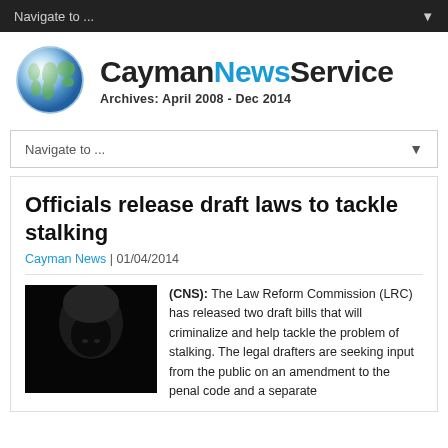Navigate to ...
[Figure (logo): Cayman News Service logo with globe icon and text: CaymanNewsService Archives: April 2008 - Dec 2014]
Navigate to ...
Officials release draft laws to tackle stalking
Cayman News | 01/04/2014
[Figure (photo): Dark hooded figure against black background]
(CNS): The Law Reform Commission (LRC) has released two draft bills that will criminalize and help tackle the problem of stalking. The legal drafters are seeking input from the public on an amendment to the penal code and a separate